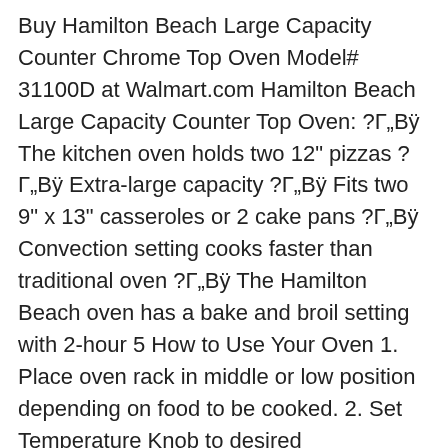Buy Hamilton Beach Large Capacity Counter Chrome Top Oven Model# 31100D at Walmart.com Hamilton Beach Large Capacity Counter Top Oven: ?Г„Вÿ The kitchen oven holds two 12" pizzas ?Г„Вÿ Extra-large capacity ?Г„Вÿ Fits two 9" x 13" casseroles or 2 cake pans ?Г„Вÿ Convection setting cooks faster than traditional oven ?Г„Вÿ The Hamilton Beach oven has a bake and broil setting with 2-hour 5 How to Use Your Oven 1. Place oven rack in middle or low position depending on food to be cooked. 2. Set Temperature Knob to desired temperature. 3. Set Function Knob to BAKE.
16/11/2014В В· Best Air Fryers 2019 -